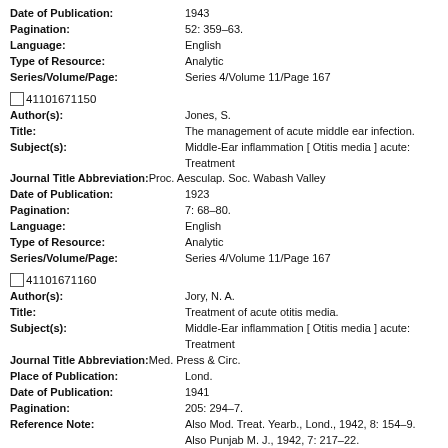Date of Publication: 1943
Pagination: 52: 359-63.
Language: English
Type of Resource: Analytic
Series/Volume/Page: Series 4/Volume 11/Page 167
41101671150
Author(s): Jones, S.
Title: The management of acute middle ear infection.
Subject(s): Middle-Ear inflammation [ Otitis media ] acute: Treatment
Journal Title Abbreviation: Proc. Aesculap. Soc. Wabash Valley
Date of Publication: 1923
Pagination: 7: 68-80.
Language: English
Type of Resource: Analytic
Series/Volume/Page: Series 4/Volume 11/Page 167
41101671160
Author(s): Jory, N. A.
Title: Treatment of acute otitis media.
Subject(s): Middle-Ear inflammation [ Otitis media ] acute: Treatment
Journal Title Abbreviation: Med. Press & Circ.
Place of Publication: Lond.
Date of Publication: 1941
Pagination: 205: 294-7.
Reference Note: Also Mod. Treat. Yearb., Lond., 1942, 8: 154-9. Also Punjab M. J., 1942, 7: 217-22.
Language: English
Type of Resource: Analytic
Series/Volume/Page: Series 4/Volume 11/Page 167